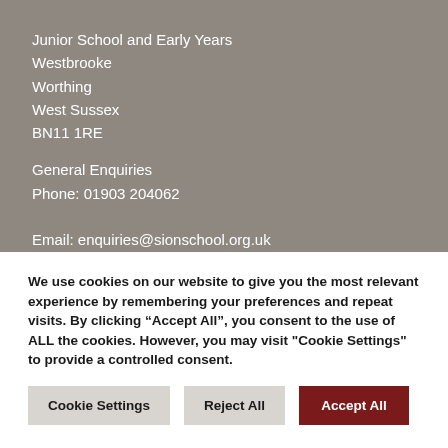Junior School and Early Years
Westbrooke
Worthing
West Sussex
BN11 1RE
General Enquiries
Phone: 01903 204062

Email: enquiries@sionschool.org.uk
We use cookies on our website to give you the most relevant experience by remembering your preferences and repeat visits. By clicking “Accept All”, you consent to the use of ALL the cookies. However, you may visit "Cookie Settings" to provide a controlled consent.
Cookie Settings
Reject All
Accept All